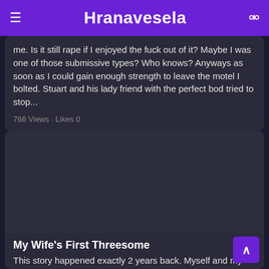Hranavesela
me. Is it still rape if I enjoyed the fuck out of it? Maybe I was one of those submissive types? Who knows? Anyways as soon as I could gain enough strength to leave the motel I bolted. Stuart and his lady friend with the perfect bod tried to stop...
766 Views · Likes 0
[Figure (other): Dark placeholder image area for article]
My Wife's First Threesome
This story happened exactly 2 years back. Myself and my wife both of us are very excited about sex and sexual adventures. I am lucky I got a wife who is so horny. First I